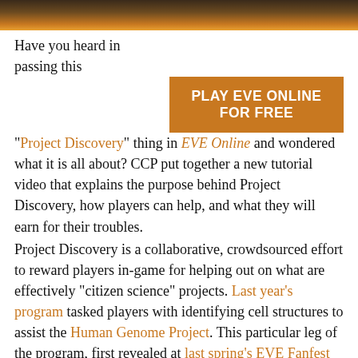[Figure (photo): Dark gradient image strip at the top of the page, showing a dark reddish-brown to orange gradient, suggesting a space or game scene.]
Have you heard in passing this "Project Discovery" thing in EVE Online and wondered what it is all about? CCP put together a new tutorial video that explains the purpose behind Project Discovery, how players can help, and what they will earn for their troubles.
[Figure (other): Orange banner advertisement reading: PLAY EVE ONLINE FOR FREE]
Project Discovery is a collaborative, crowdsourced effort to reward players in-game for helping out on what are effectively "citizen science" projects. Last year's program tasked players with identifying cell structures to assist the Human Genome Project. This particular leg of the program, first revealed at last spring's EVE Fanfest in Iceland, sets players to work hunting for exoplanets in other solar systems. Players have the option of analyzing a star's luminosity to see